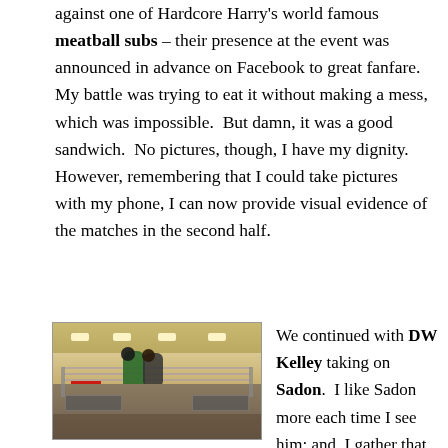against one of Hardcore Harry's world famous meatball subs – their presence at the event was announced in advance on Facebook to great fanfare.  My battle was trying to eat it without making a mess, which was impossible.  But damn, it was a good sandwich.  No pictures, though, I have my dignity.  However, remembering that I could take pictures with my phone, I can now provide visual evidence of the matches in the second half.
[Figure (photo): Indoor wrestling ring photo taken from ringside. Wrestlers visible in the ring with spectators below. American flag hung on the wall in the background. Ceiling lights visible above.]
We continued with DW Kelley taking on Sadon.  I like Sadon more each time I see him; and, I gather that DW Kelley is a lot...